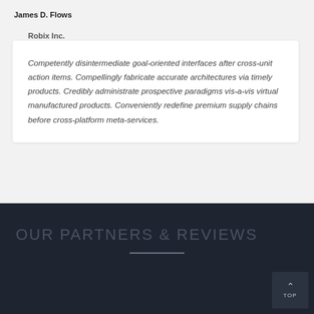James D. Flows
Robix Inc.
Competently disintermediate goal-oriented interfaces after cross-unit action items. Compellingly fabricate accurate architectures via timely products. Credibly administrate prospective paradigms vis-a-vis virtual manufactured products. Conveniently redefine premium supply chains before cross-platform meta-services.
OUR PARTNERS & REVIEWS